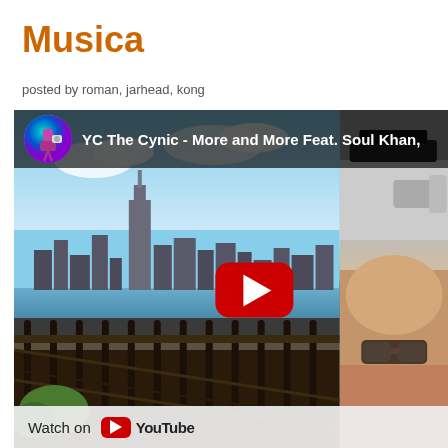Musica
posted by roman, jarhead, kong
[Figure (screenshot): YouTube video embed showing 'YC The Cynic - More and More Feat. Soul Khan,' with NYC skyline thumbnail on left, car/person image on right, red play button in center, and 'Watch on YouTube' bar at bottom.]